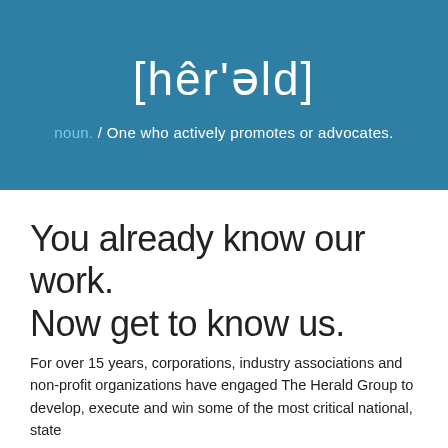[Figure (logo): Teal/blue header banner with phonetic spelling [hêr'əld] in large white text and dictionary-style definition below]
You already know our work.
Now get to know us.
For over 15 years, corporations, industry associations and non-profit organizations have engaged The Herald Group to develop, execute and win some of the most critical national, state